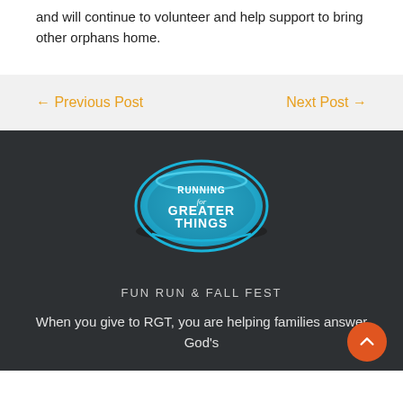and will continue to volunteer and help support to bring other orphans home.
← Previous Post
Next Post →
[Figure (logo): Running for Greater Things oval logo with blue gradient background and white text]
FUN RUN & FALL FEST
When you give to RGT, you are helping families answer God's